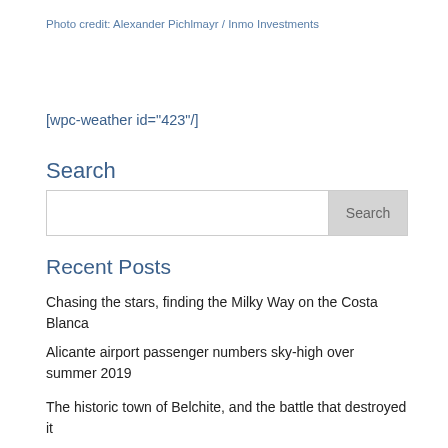Photo credit: Alexander Pichlmayr / Inmo Investments
[wpc-weather id="423"/]
Search
Search
Recent Posts
Chasing the stars, finding the Milky Way on the Costa Blanca
Alicante airport passenger numbers sky-high over summer 2019
The historic town of Belchite, and the battle that destroyed it